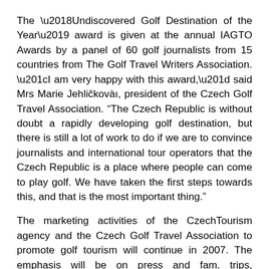The ‘Undiscovered Golf Destination of the Year’ award is given at the annual IAGTO Awards by a panel of 60 golf journalists from 15 countries from The Golf Travel Writers Association. “I am very happy with this award,” said Mrs Marie Jehličkovàı, president of the Czech Golf Travel Association. “The Czech Republic is without doubt a rapidly developing golf destination, but there is still a lot of work to do if we are to convince journalists and international tour operators that the Czech Republic is a place where people can come to play golf. We have taken the first steps towards this, and that is the most important thing.”
The marketing activities of the CzechTourism agency and the Czech Golf Travel Association to promote golf tourism will continue in 2007. The emphasis will be on press and fam. trips, participation in golf shows and more intense PR activities.
The aim of the annual IAGTO Awards is to stimulate